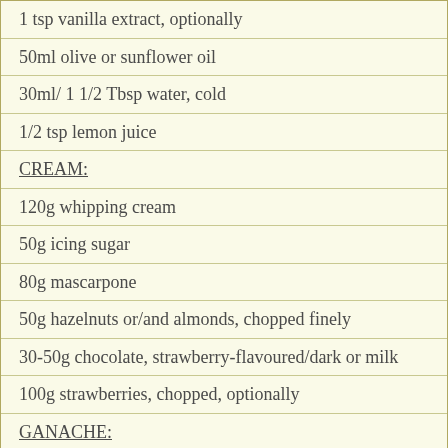1 tsp vanilla extract, optionally
50ml olive or sunflower oil
30ml/ 1 1/2 Tbsp water, cold
1/2 tsp lemon juice
CREAM:
120g whipping cream
50g icing sugar
80g mascarpone
50g hazelnuts or/and almonds, chopped finely
30-50g chocolate, strawberry-flavoured/dark or milk
100g strawberries, chopped, optionally
GANACHE:
100g dark chocolate, chopped coarsely
80-100ml cream, double or 20-30%
1. Preheat oven to 355°F / 180°C. Butter cake pan, line it with baking paper and set aside.
2. In a large bowl, combine all the dry ingredients except